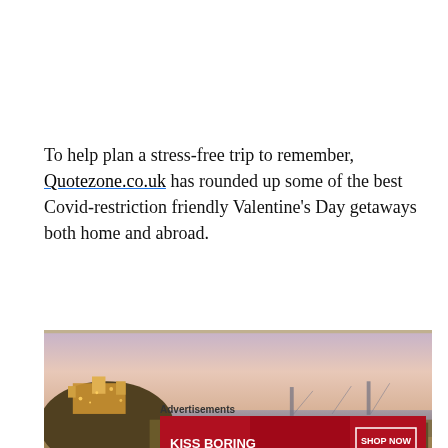To help plan a stress-free trip to remember, Quotezone.co.uk has rounded up some of the best Covid-restriction friendly Valentine's Day getaways both home and abroad.
[Figure (photo): Panoramic dusk cityscape with illuminated hilltop castle on the left, sprawling city with red-roofed buildings, a wide river or bay, and a bridge visible in the background under a pink-purple sky — likely Lisbon, Portugal.]
Advertisements
[Figure (photo): Macy's advertisement with red background showing a woman's face with red lipstick, text 'KISS BORING LIPS GOODBYE', and 'SHOP NOW' button with Macy's logo star.]